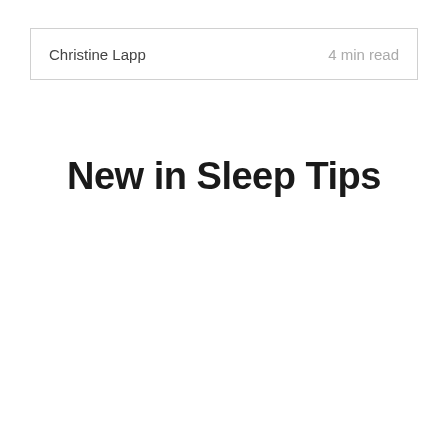Christine Lapp  4 min read
New in Sleep Tips